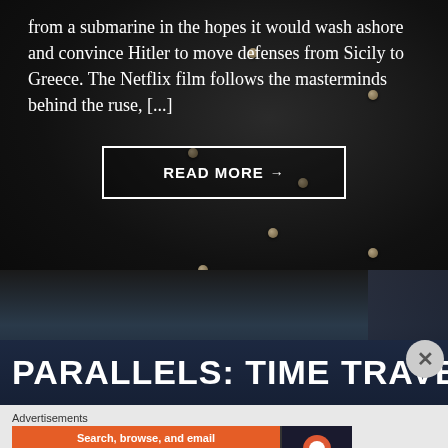from a submarine in the hopes it would wash ashore and convince Hitler to move defenses from Sicily to Greece. The Netflix film follows the masterminds behind the ruse, [...]
READ MORE →
PARALLELS: TIME TRAVEL
Advertisements
[Figure (screenshot): DuckDuckGo advertisement banner: orange left panel with text 'Search, browse, and email with more privacy. All in One Free App', dark right panel with DuckDuckGo logo and name.]